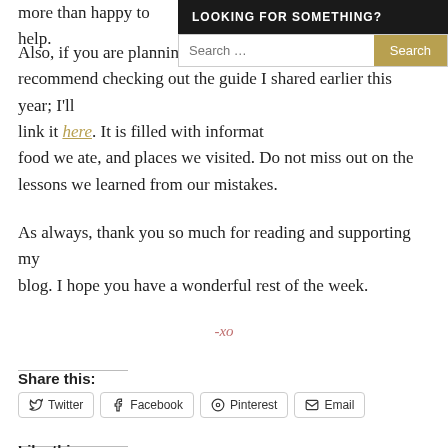more than happy to help.
Also, if you are planning a trip to NY recommend checking out the guide I shared earlier this year; I'll link it here. It is filled with information food we ate, and places we visited. Do not miss out on the lessons we learned from our mistakes.
As always, thank you so much for reading and supporting my blog. I hope you have a wonderful rest of the week.
-xo
Share this:
Twitter  Facebook  Pinterest  Email
Like this: